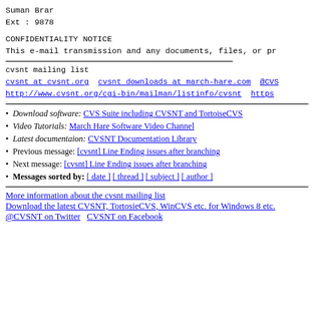Suman Brar
Ext : 9878
CONFIDENTIALITY NOTICE
This e-mail transmission and any documents, files, or pr
cvsnt mailing list
cvsnt at cvsnt.org  cvsnt downloads at march-hare.com  @CVS
http://www.cvsnt.org/cgi-bin/mailman/listinfo/cvsnt  https
Download software: CVS Suite including CVSNT and TortoiseCVS
Video Tutorials: March Hare Software Video Channel
Latest documentaion: CVSNT Documentation Library
Previous message: [cvsnt] Line Ending issues after branching
Next message: [cvsnt] Line Ending issues after branching
Messages sorted by: [ date ] [ thread ] [ subject ] [ author ]
More information about the cvsnt mailing list
Download the latest CVSNT, TortosieCVS, WinCVS etc. for Windows 8 etc.
@CVSNT on Twitter   CVSNT on Facebook